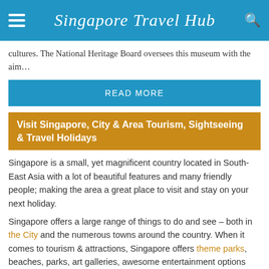Singapore Travel Hub
cultures. The National Heritage Board oversees this museum with the aim…
READ MORE
Visit Singapore, City & Area Tourism, Sightseeing & Travel Holidays
Singapore is a small, yet magnificent country located in South-East Asia with a lot of beautiful features and many friendly people; making the area a great place to visit and stay on your next holiday.
Singapore offers a large range of things to do and see – both in the City and the numerous towns around the country. When it comes to tourism & attractions, Singapore offers theme parks, beaches, parks, art galleries, awesome entertainment options and renowned shopping